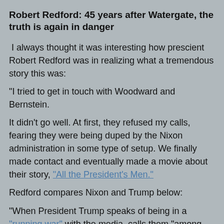Robert Redford: 45 years after Watergate, the truth is again in danger
I always thought it was interesting how prescient Robert Redford was in realizing what a tremendous story this was:
"I tried to get in touch with Woodward and Bernstein.
It didn't go well. At first, they refused my calls, fearing they were being duped by the Nixon administration in some type of setup. We finally made contact and eventually made a movie about their story, “All the President’s Men.”
Redford compares Nixon and Trump below:
"When President Trump speaks of being in a “running war” with the media, calls them “among the most dishonest human beings on Earth” and tweets that they’re the “enemy of the American people,” his language takes the Nixon administration’s false accusations of “shoddy” and